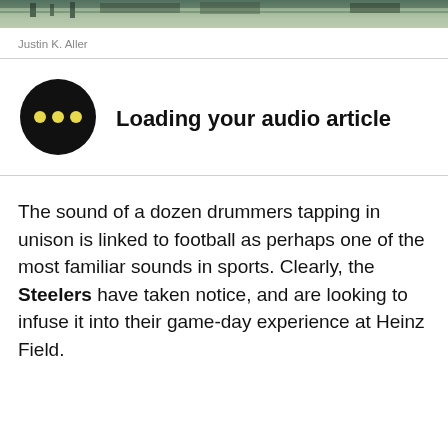[Figure (photo): Banner photo of a stadium/bridge scene with green and grey tones]
Justin K. Aller
[Figure (illustration): Black circle with three yellow dots (audio loading indicator)]
Loading your audio article
The sound of a dozen drummers tapping in unison is linked to football as perhaps one of the most familiar sounds in sports. Clearly, the Steelers have taken notice, and are looking to infuse it into their game-day experience at Heinz Field.